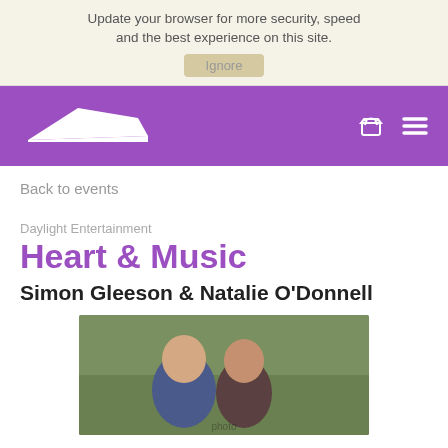Update your browser for more security, speed and the best experience on this site.
Ignore
[Figure (logo): Purple navigation bar with white shoe/footwear logo on the left and basket and menu icons on the right]
Back to events
Daylight Entertainment
Heart & Music
Simon Gleeson & Natalie O'Donnell
[Figure (photo): Photo of Simon Gleeson and Natalie O'Donnell smiling outdoors, man in navy jacket on left, woman with dark hair on right]